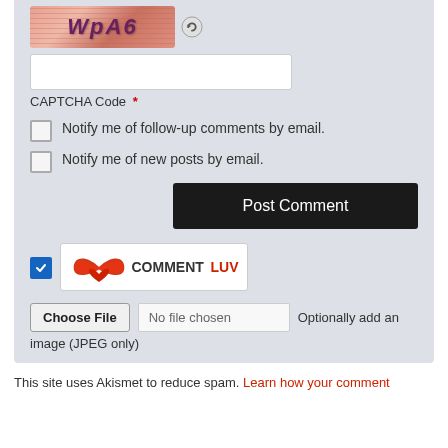[Figure (screenshot): CAPTCHA image showing distorted text 'WpA6' on a brick-textured background with a refresh/audio icon next to it]
[Figure (screenshot): Text input field for CAPTCHA code entry]
CAPTCHA Code *
Notify me of follow-up comments by email.
Notify me of new posts by email.
[Figure (screenshot): Post Comment button, dark/black background with white text]
[Figure (logo): CommentLuv logo with red wings and text 'COMMENTLUV' with checked blue checkbox]
[Figure (screenshot): File upload control: Choose File button, No file chosen display, with label 'Optionally add an image (JPEG only)']
This site uses Akismet to reduce spam. Learn how your comment